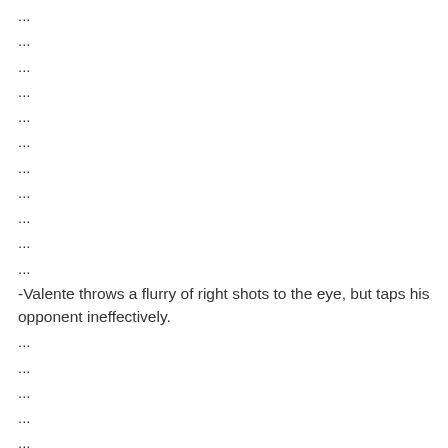...
...
...
...
...
...
...
...
...
...
...
-Valente throws a flurry of right shots to the eye, but taps his opponent ineffectively.
...
...
...
...
...
...